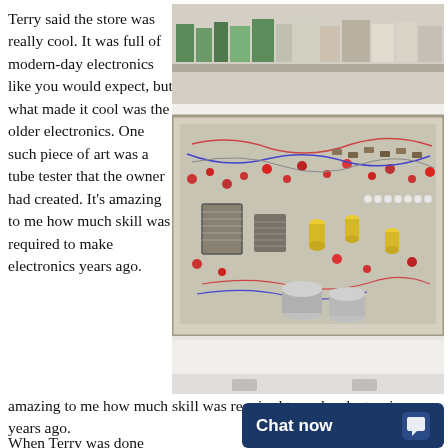Terry said the store was really cool. It was full of modern-day electronics like you would expect, but what made it cool was the older electronics. One such piece of art was a tube tester that the owner had created. It's amazing to me how much skill was required to make electronics years ago.
[Figure (photo): Photo of an interior of an electronics store showing shelves with products in the background and an open vintage electronic device chassis filled with densely packed components including tubes, capacitors, transformers, and wiring — resembling a homemade tube tester.]
When Terry was done